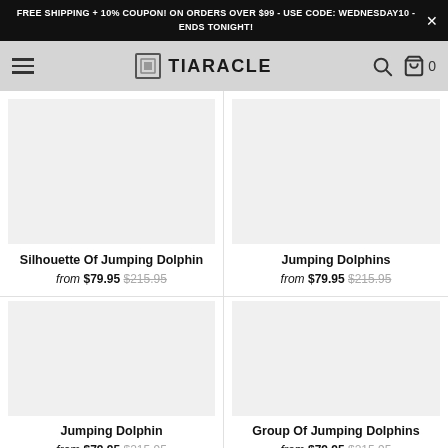FREE SHIPPING + 10% COUPON! ON ORDERS OVER $99 - USE CODE: WEDNESDAY10 - ENDS TONIGHT!
[Figure (logo): TIARACLE logo with icon in navigation bar]
Silhouette Of Jumping Dolphin
from $79.95 $215.95
Jumping Dolphins
from $79.95 $215.95
Jumping Dolphin
from $79.95 $215.95
Group Of Jumping Dolphins
from $79.95 $215.95